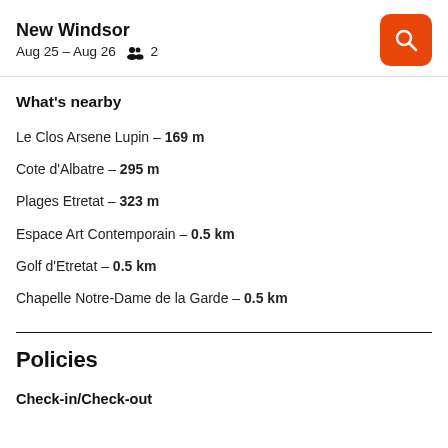New Windsor
Aug 25 – Aug 26   👥 2
What's nearby
Le Clos Arsene Lupin – 169 m
Cote d'Albatre – 295 m
Plages Etretat – 323 m
Espace Art Contemporain – 0.5 km
Golf d'Etretat – 0.5 km
Chapelle Notre-Dame de la Garde – 0.5 km
Policies
Check-in/Check-out